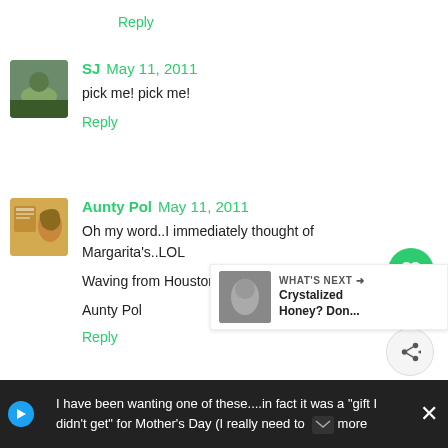Reply
SJ May 11, 2011
pick me! pick me!
Reply
Aunty Pol May 11, 2011
Oh my word..I immediately thought of Margarita's..LOL

Waving from Houston !

Aunty Pol
Reply
Mommo May 11, 2011
I have been wanting one of these....in fact it was a "gift I didn't get" for Mother's Day (I really need to more
[Figure (infographic): WHAT'S NEXT arrow with thumbnail: Crystalized Honey? Don...]
[Figure (infographic): Advertisement bar at bottom with play icon, close button, and ad text]